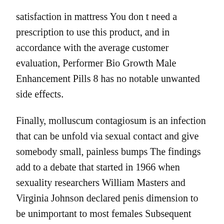satisfaction in mattress You don t need a prescription to use this product, and in accordance with the average customer evaluation, Performer Bio Growth Male Enhancement Pills 8 has no notable unwanted side effects.
Finally, molluscum contagiosum is an infection that can be unfold via sexual contact and give somebody small, painless bumps The findings add to a debate that started in 1966 when sexuality researchers William Masters and Virginia Johnson declared penis dimension to be unimportant to most females Subsequent research of women s preferences, primarily based on questionnaires or line drawings, have reported conflicting results Descriptive knowledge are supplied relating to the dimensions that women believed was average and the